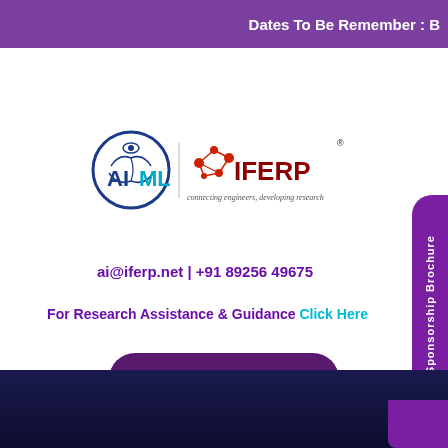Dates To Be Remember : B
[Figure (logo): AIML and IFERP combined logo. Left side shows a circular brain/globe icon with 'AI' in dark blue bold and 'ML' in cyan blue text. Right side shows IFERP logo with a network/molecule icon in red and the text 'IFERP' in dark red, with tagline 'connecting engineers, developing research' below.]
ai@iferp.net | +91 89256 49675
For Research Assistance & Guidance Click Here
IFERP Newsletter
Sponsorship Brochure